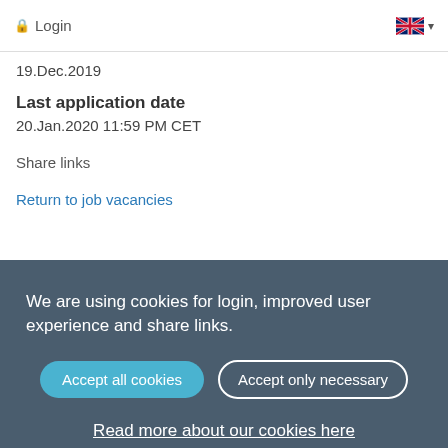Login
19.Dec.2019
Last application date
20.Jan.2020 11:59 PM CET
Share links
Return to job vacancies
We are using cookies for login, improved user experience and share links.
Accept all cookies
Accept only necessary
Read more about our cookies here